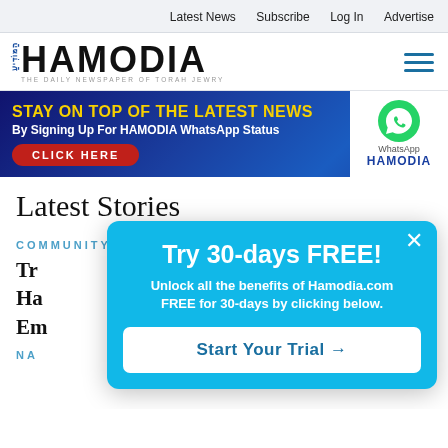Latest News  Subscribe  Log In  Advertise
[Figure (logo): Hamodia newspaper logo — 'HAMODIA' in large bold text with Hebrew text and tagline 'THE DAILY NEWSPAPER OF TORAH JEWRY']
[Figure (infographic): Ad banner: STAY ON TOP OF THE LATEST NEWS By Signing Up For HAMODIA WhatsApp Status — CLICK HERE. WhatsApp logo and HAMODIA branding on right.]
Latest Stories
COMMUNITY
Tr...
Ha...
Em...
NA...
[Figure (infographic): Popup modal: Try 30-days FREE! Unlock all the benefits of Hamodia.com FREE for 30-days by clicking below. Start Your Trial →]